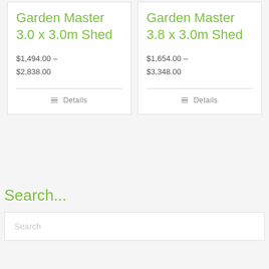Garden Master 3.0 x 3.0m Shed
$1,494.00 – $2,838.00
Details
Garden Master 3.8 x 3.0m Shed
$1,654.00 – $3,348.00
Details
Search...
Search